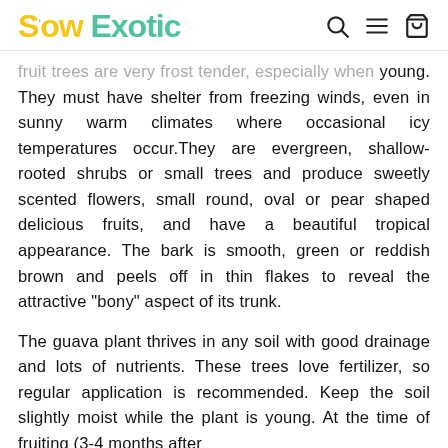Sow Exotic
fruit trees are very frost tender, especially when young. They must have shelter from freezing winds, even in sunny warm climates where occasional icy temperatures occur.They are evergreen, shallow-rooted shrubs or small trees and produce sweetly scented flowers, small round, oval or pear shaped delicious fruits, and have a beautiful tropical appearance. The bark is smooth, green or reddish brown and peels off in thin flakes to reveal the attractive "bony" aspect of its trunk.
The guava plant thrives in any soil with good drainage and lots of nutrients. These trees love fertilizer, so regular application is recommended. Keep the soil slightly moist while the plant is young. At the time of fruiting (3-4 months after